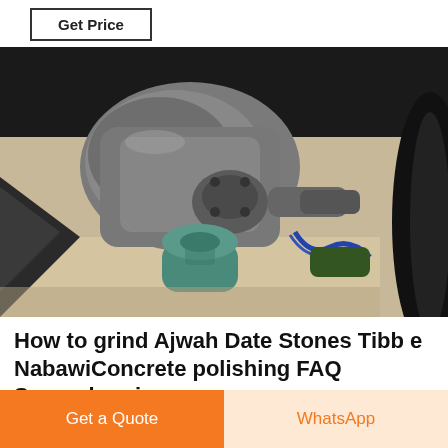Get Price
[Figure (photo): Close-up photo of industrial grinding/milling machine components, showing metal gearbox, shafts, a teal/green cylindrical motor, structural steel frame, and a large black wheel, viewed from below at an angle.]
How to grind Ajwah Date Stones Tibb e NabawiConcrete polishing FAQ Superabrasive
Get a Quote
WhatsApp